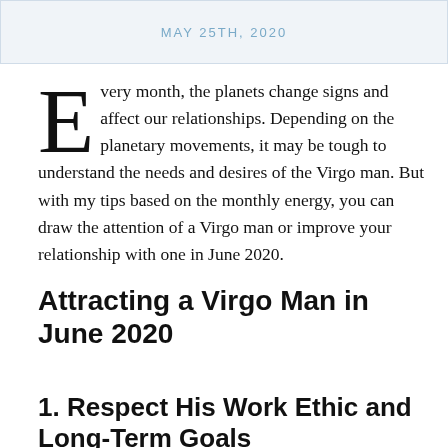MAY 25TH, 2020
Every month, the planets change signs and affect our relationships. Depending on the planetary movements, it may be tough to understand the needs and desires of the Virgo man. But with my tips based on the monthly energy, you can draw the attention of a Virgo man or improve your relationship with one in June 2020.
Attracting a Virgo Man in June 2020
1. Respect His Work Ethic and Long-Term Goals